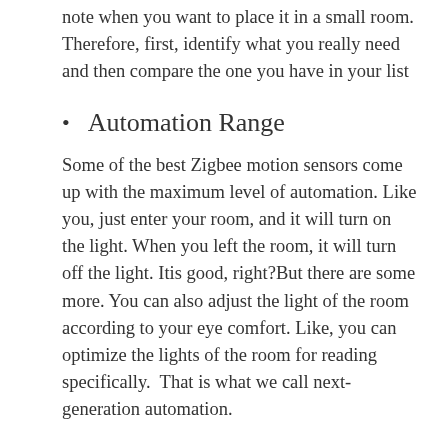note when you want to place it in a small room. Therefore, first, identify what you really need and then compare the one you have in your list
Automation Range
Some of the best Zigbee motion sensors come up with the maximum level of automation. Like you, just enter your room, and it will turn on the light. When you left the room, it will turn off the light. Itis good, right?But there are some more. You can also adjust the light of the room according to your eye comfort. Like, you can optimize the lights of the room for reading specifically.  That is what we call next-generation automation.
This kind of automation, for sure, will cost you a bit more, but we think you are ready for any